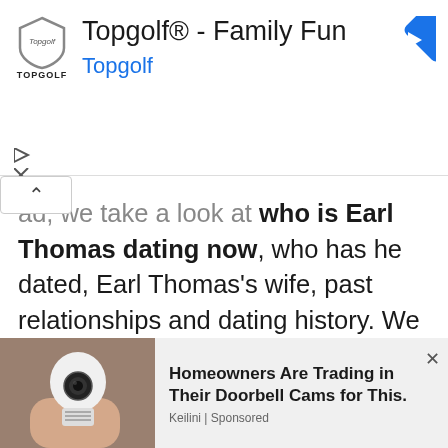[Figure (screenshot): Topgolf advertisement banner with logo, title 'Topgolf® - Family Fun', subtitle 'Topgolf', and a blue diamond navigation arrow icon]
ad, we take a look at who is Earl Thomas dating now, who has he dated, Earl Thomas's wife, past relationships and dating history. We will also look at Earl's biography, facts, net worth, and much more.
[Figure (screenshot): Bottom advertisement: image of a light bulb camera, headline 'Homeowners Are Trading in Their Doorbell Cams for This.', sponsor 'Keilini | Sponsored']